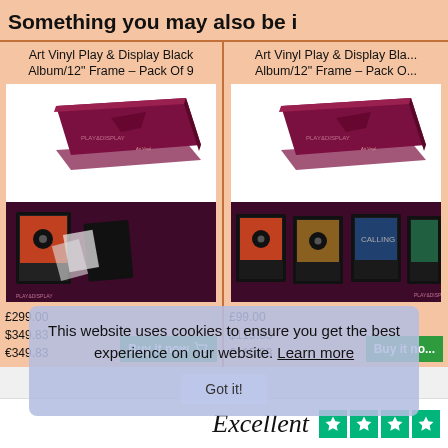Something you may also be i...
Art Vinyl Play & Display Black Album/12" Frame – Pack Of 9
[Figure (photo): Dark red/maroon box product photo with Art Vinyl Play & Display logo]
[Figure (photo): Dark maroon background showing vinyl frames display with album covers]
£299.00
$349.83
€349.83
Art Vinyl Play & Display Bla... Album/12" Frame – Pack O...
[Figure (photo): Dark red/maroon box product photo with Art Vinyl Play & Display logo]
[Figure (photo): Dark maroon background showing three vinyl frames display with album covers]
£99.00
$115.83
€115.83
This website uses cookies to ensure you get the best experience on our website. Learn more
Got it!
Excellent